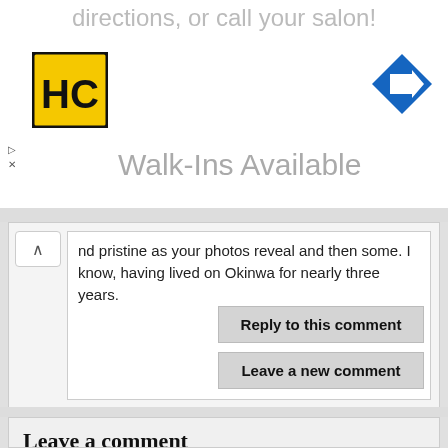directions, or call your salon!
[Figure (logo): HC logo — yellow square with black H and C letters, bold black border]
[Figure (illustration): Blue diamond-shaped navigation/direction arrow icon pointing right]
Walk-Ins Available
nd pristine as your photos reveal and then some. I know, having lived on Okinwa for nearly three years.
Reply to this comment
Leave a new comment
Leave a comment
Name (required)
Your actual name, not your online persona, website name, company name or keywords, otherwise your comment won't be published